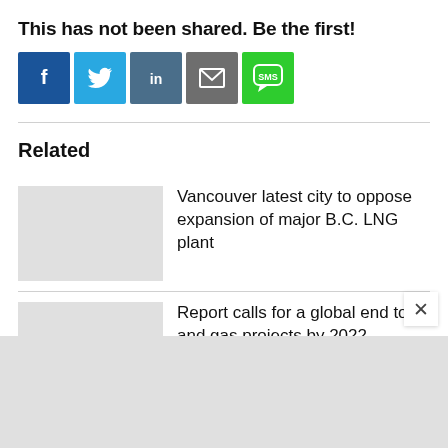This has not been shared. Be the first!
[Figure (other): Social sharing buttons: Facebook (blue), Twitter (light blue), LinkedIn (slate blue), Email (gray), SMS (green)]
Related
Vancouver latest city to oppose expansion of major B.C. LNG plant
Report calls for a global end to oil and gas projects by 2022 — where does B.C. stand?